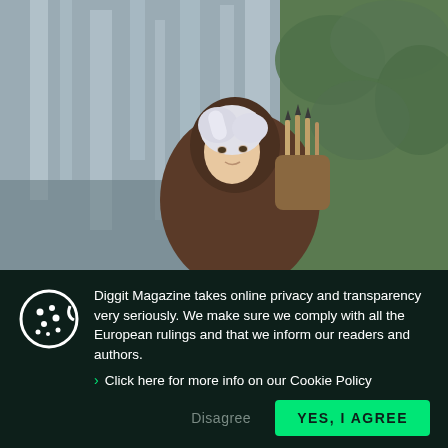[Figure (photo): A person dressed in cosplay costume with white/silver hair and a brown hooded cloak, carrying arrows on their back, standing in front of a rocky waterfall background.]
Diggit Magazine takes online privacy and transparency very seriously. We make sure we comply with all the European rulings and that we inform our readers and authors.
Click here for more info on our Cookie Policy
Disagree
YES, I AGREE